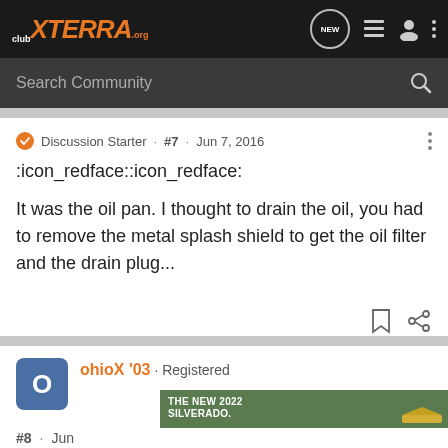club XTERRA .org
Search Community
Discussion Starter · #7 · Jun 7, 2016
:icon_redface::icon_redface:
It was the oil pan. I thought to drain the oil, you had to remove the metal splash shield to get the oil filter and the drain plug...
ohioX '03 · Registered
[Figure (photo): Chevrolet Silverado 2022 advertisement banner showing a truck with text THE NEW 2022 SILVERADO. and Explore button]
#8 · Jun